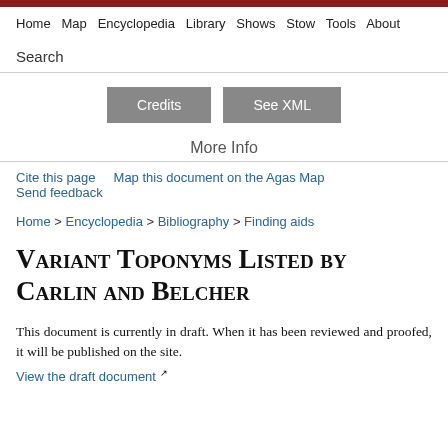Home  Map  Encyclopedia  Library  Shows  Stow  Tools  About
Search
Credits   See XML
More Info
Cite this page   Map this document on the Agas Map   Send feedback
Home > Encyclopedia > Bibliography > Finding aids
Variant Toponyms Listed by Carlin and Belcher
This document is currently in draft. When it has been reviewed and proofed, it will be published on the site.
View the draft document